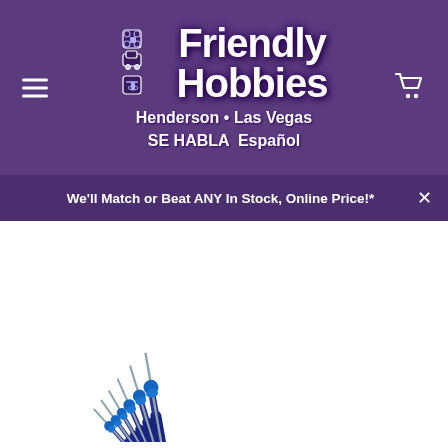[Figure (logo): Friendly Hobbies logo with purple background, shop name in stylized white text, Henderson • Las Vegas, SE HABLA Español, hamburger menu icon on left, shopping cart icon on right]
We'll Match or Beat ANY In Stock, Online Price!*
[Figure (photo): Set of 6 precision screwdrivers with blue caps and black handles fanned out on white background]